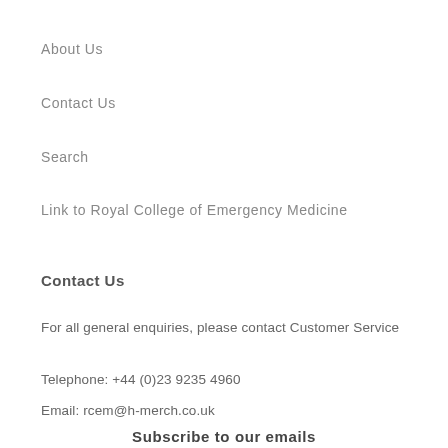About Us
Contact Us
Search
Link to Royal College of Emergency Medicine
Contact Us
For all general enquiries, please contact Customer Service
Telephone: +44 (0)23 9235 4960
Email: rcem@h-merch.co.uk
Subscribe to our emails